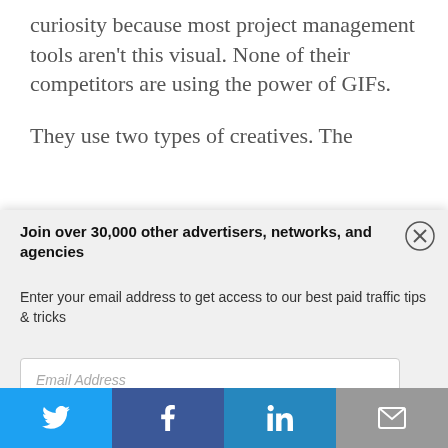curiosity because most project management tools aren't this visual. None of their competitors are using the power of GIFs.
They use two types of creatives. The
Join over 30,000 other advertisers, networks, and agencies
Enter your email address to get access to our best paid traffic tips & tricks
Email Address
Send me tips!
[Figure (infographic): Social sharing bar with Twitter, Facebook, LinkedIn, and email icons]